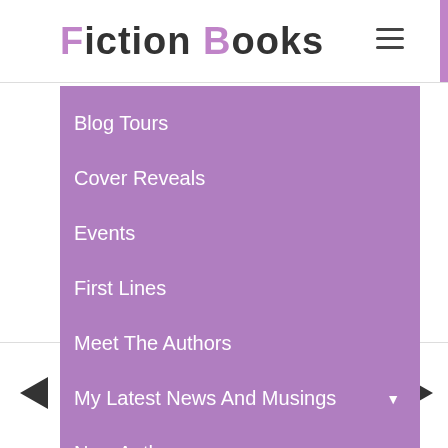Fiction Books
Blog Tours
Cover Reveals
Events
First Lines
Meet The Authors
My Latest News And Musings ▼
New Authors
[Figure (illustration): Facebook and Twitter social media icons at the bottom of the page]